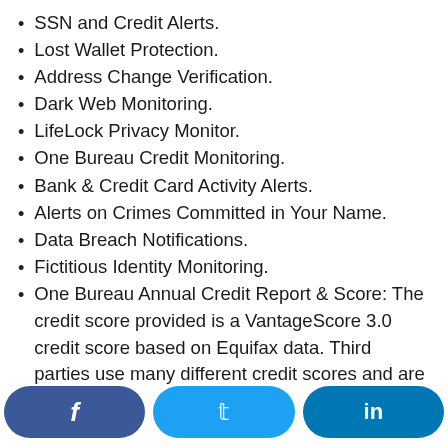SSN and Credit Alerts.
Lost Wallet Protection.
Address Change Verification.
Dark Web Monitoring.
LifeLock Privacy Monitor.
One Bureau Credit Monitoring.
Bank & Credit Card Activity Alerts.
Alerts on Crimes Committed in Your Name.
Data Breach Notifications.
Fictitious Identity Monitoring.
One Bureau Annual Credit Report & Score: The credit score provided is a VantageScore 3.0 credit score based on Equifax data. Third parties use many different credit scores and are likely to use a different credit score...